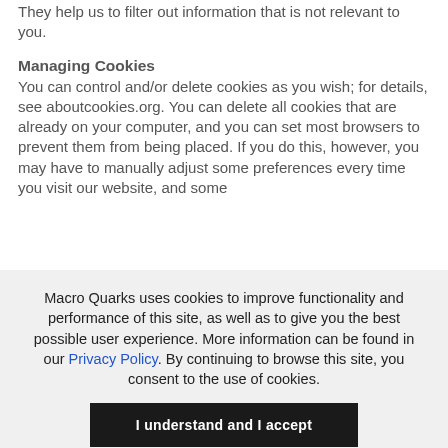They help us to filter out information that is not relevant to you.
Managing Cookies
You can control and/or delete cookies as you wish; for details, see aboutcookies.org. You can delete all cookies that are already on your computer, and you can set most browsers to prevent them from being placed. If you do this, however, you may have to manually adjust some preferences every time you visit our website, and some
Macro Quarks uses cookies to improve functionality and performance of this site, as well as to give you the best possible user experience. More information can be found in our Privacy Policy. By continuing to browse this site, you consent to the use of cookies.
I understand and I accept